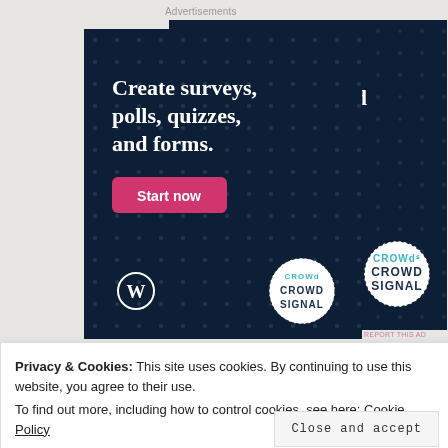Advertisements
[Figure (illustration): Crowdsignal advertisement banner with dark navy background and dot pattern. White bold text reads 'Create surveys, polls, quizzes, and forms.' A pink/magenta button labeled 'Start now'. Bottom left shows WordPress logo. Bottom right shows Crowdsignal logo in a dotted circle.]
REPORT THIS AD
Privacy & Cookies: This site uses cookies. By continuing to use this website, you agree to their use.
To find out more, including how to control cookies, see here: Cookie Policy
Close and accept